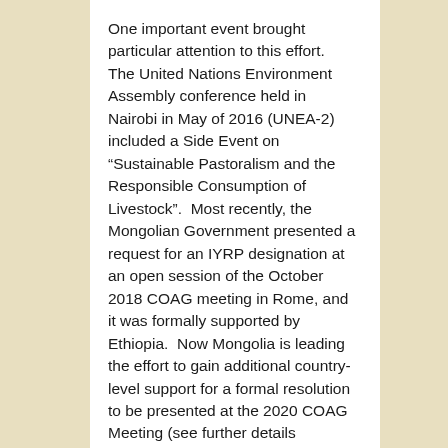One important event brought particular attention to this effort.  The United Nations Environment Assembly conference held in Nairobi in May of 2016 (UNEA-2) included a Side Event on “Sustainable Pastoralism and the Responsible Consumption of Livestock”.  Most recently, the Mongolian Government presented a request for an IYRP designation at an open session of the October 2018 COAG meeting in Rome, and it was formally supported by Ethiopia.  Now Mongolia is leading the effort to gain additional country-level support for a formal resolution to be presented at the 2020 COAG Meeting (see further details https://globalrangelands.org/internati